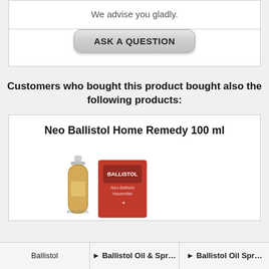We advise you gladly.
[Figure (screenshot): A rounded rectangular button with gradient gray background and bold uppercase text reading 'ASK A QUESTION']
Customers who bought this product bought also the following products:
Neo Ballistol Home Remedy 100 ml
[Figure (photo): Product photo of Neo Ballistol Home Remedy 100ml: a glass bottle with amber liquid and a red product box with BALLISTOL logo and text 'Neo-Ballistol Hausmittel']
Ballistol | ► Ballistol Oil & Spray | ► Ballistol Oil Spr...